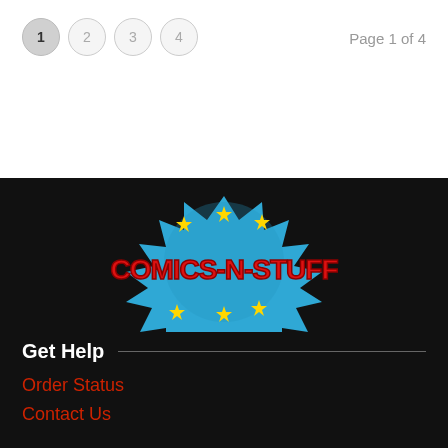1  2  3  4    Page 1 of 4
[Figure (logo): Comics-N-Stuff logo: red bold comic-style lettering on a blue spiky burst shape with yellow stars, on a black background]
Get Help
Order Status
Contact Us